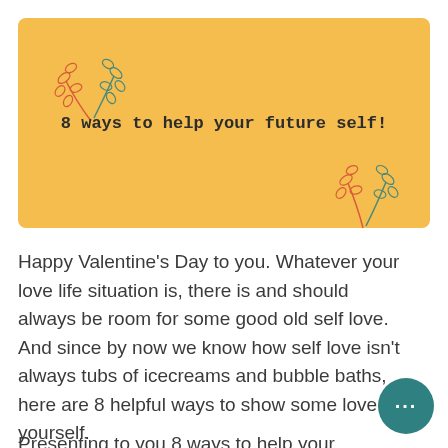[Figure (illustration): Orange/yellow banner with botanical leaf illustrations in top-left and bottom-right corners, containing the title text '8 ways to help your future self!']
8 ways to help your future self!
Happy Valentine's Day to you. Whatever your love life situation is, there is and should always be room for some good old self love. And since by now we know how self love isn't always tubs of icecreams and bubble baths, here are 8 helpful ways to show some love to yourself.
Presenting to you 8 ways to help your